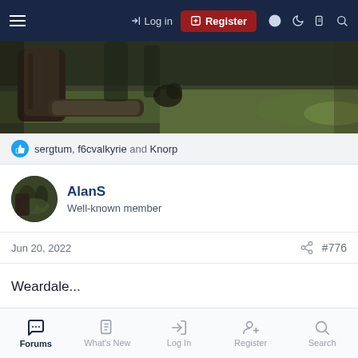Log in | Register
[Figure (photo): Outdoor forest/woodland scene with trees, logs, grass and dirt ground]
sergtum, f6cvalkyrie and Knorp
AlanS
Well-known member
Jun 20, 2022   #776
Weardale...
A7r4, 16-70 f4 ZA OSS
Forums  What's New  Log In  Register  Search